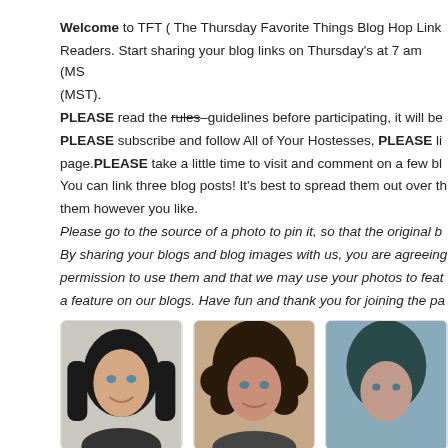Welcome to TFT ( The Thursday Favorite Things Blog Hop Link Party) Dear Readers. Start sharing your blog links on Thursday's at 7 am (MST) - (MST). PLEASE read the rules–guidelines before participating, it will be... PLEASE subscribe and follow All of Your Hostesses, PLEASE li... page. PLEASE take a little time to visit and comment on a few bl... You can link three blog posts! It's best to spread them out over th... them however you like. Please go to the source of a photo to pin it, so that the original b... By sharing your blogs and blog images with us, you are agreeing... permission to use them and that we may use your photos to feat... a feature on our blogs. Have fun and thank you for joining the pa...
[Figure (photo): Three portrait photos of women hostesses side by side in rounded cards]